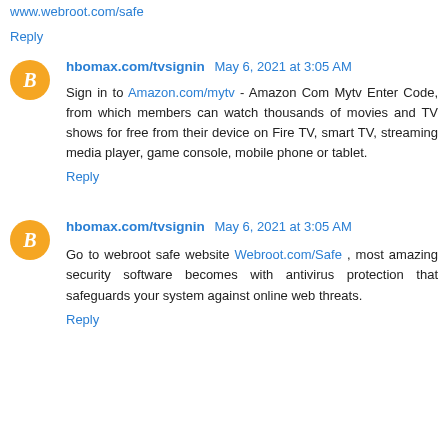www.webroot.com/safe
Reply
hbomax.com/tvsignin  May 6, 2021 at 3:05 AM
Sign in to Amazon.com/mytv - Amazon Com Mytv Enter Code, from which members can watch thousands of movies and TV shows for free from their device on Fire TV, smart TV, streaming media player, game console, mobile phone or tablet.
Reply
hbomax.com/tvsignin  May 6, 2021 at 3:05 AM
Go to webroot safe website Webroot.com/Safe , most amazing security software becomes with antivirus protection that safeguards your system against online web threats.
Reply